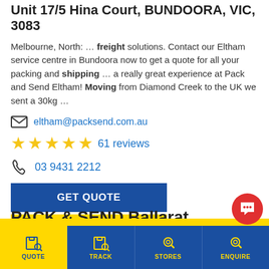Unit 17/5 Hina Court, BUNDOORA, VIC, 3083
Melbourne, North: … freight solutions. Contact our Eltham service centre in Bundoora now to get a quote for all your packing and shipping … a really great experience at Pack and Send Eltham! Moving from Diamond Creek to the UK we sent a 30kg …
eltham@packsend.com.au
★★★★★ 61 reviews
03 9431 2212
GET QUOTE
VIEW DETAILS →
PACK & SEND Ballarat
QUOTE | TRACK | STORES | ENQUIRE